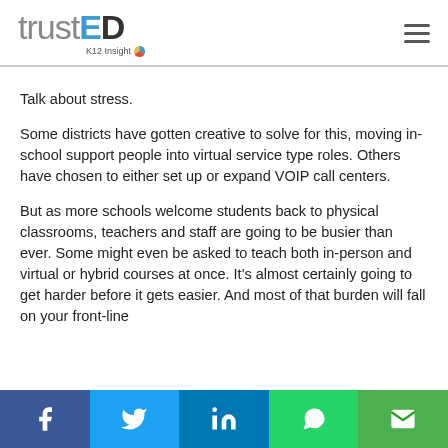trustED K12 Insight
Talk about stress.
Some districts have gotten creative to solve for this, moving in-school support people into virtual service type roles. Others have chosen to either set up or expand VOIP call centers.
But as more schools welcome students back to physical classrooms, teachers and staff are going to be busier than ever. Some might even be asked to teach both in-person and virtual or hybrid courses at once. It’s almost certainly going to get harder before it gets easier. And most of that burden will fall on your front-line